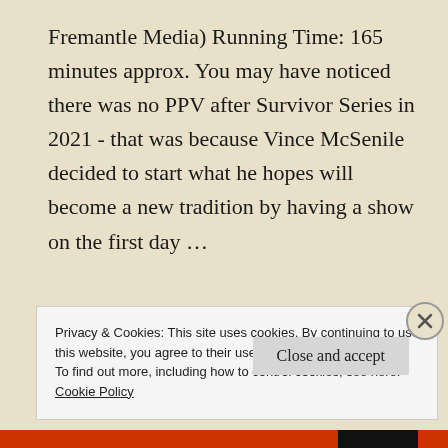Fremantle Media) Running Time: 165 minutes approx. You may have noticed there was no PPV after Survivor Series in 2021 - that was because Vince McSenile decided to start what he hopes will become a new tradition by having a show on the first day …
CONTINUE READING
Privacy & Cookies: This site uses cookies. By continuing to use this website, you agree to their use. To find out more, including how to control cookies, see here: Cookie Policy
Close and accept